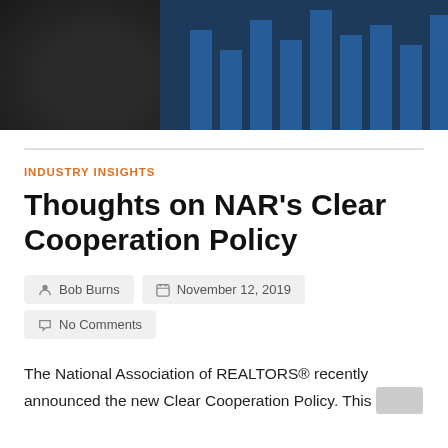[Figure (photo): Hero banner image with dark background on left (circular object) and dark blue background on right with vertical bar shapes]
INDUSTRY INSIGHTS
Thoughts on NAR's Clear Cooperation Policy
Bob Burns
November 12, 2019
No Comments
The National Association of REALTORS® recently announced the new Clear Cooperation Policy. This policy